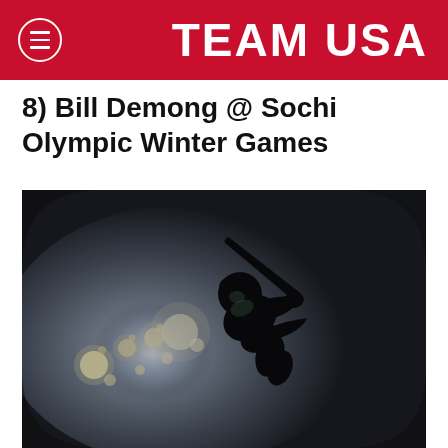TEAM USA
8) Bill Demong @ Sochi Olympic Winter Games
[Figure (photo): Silhouette of a Nordic combined ski jumper in mid-jump at night, with bright arena lights creating a glowing halo effect against a dark, misty background. The athlete is shown in a crouched aerodynamic position with skis visible above, captured at the Sochi Olympic Winter Games.]